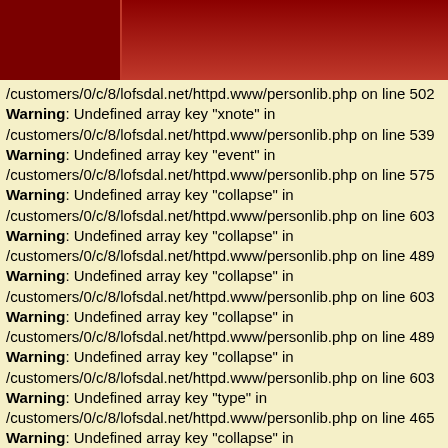[Figure (other): Dark red header bar with a vertical column divider on the left side]
/customers/0/c/8/lofsdal.net/httpd.www/personlib.php on line 502
Warning: Undefined array key "xnote" in
/customers/0/c/8/lofsdal.net/httpd.www/personlib.php on line 539
Warning: Undefined array key "event" in
/customers/0/c/8/lofsdal.net/httpd.www/personlib.php on line 575
Warning: Undefined array key "collapse" in
/customers/0/c/8/lofsdal.net/httpd.www/personlib.php on line 603
Warning: Undefined array key "collapse" in
/customers/0/c/8/lofsdal.net/httpd.www/personlib.php on line 489
Warning: Undefined array key "collapse" in
/customers/0/c/8/lofsdal.net/httpd.www/personlib.php on line 603
Warning: Undefined array key "collapse" in
/customers/0/c/8/lofsdal.net/httpd.www/personlib.php on line 489
Warning: Undefined array key "collapse" in
/customers/0/c/8/lofsdal.net/httpd.www/personlib.php on line 603
Warning: Undefined array key "type" in
/customers/0/c/8/lofsdal.net/httpd.www/personlib.php on line 465
Warning: Undefined array key "collapse" in
/customers/0/c/8/lofsdal.net/httpd.www/personlib.php on line 489
Warning: Undefined array key "event" in
/customers/0/c/8/lofsdal.net/httpd.www/personlib.php on line 490
Warning: Undefined array key "fact" in
/customers/0/c/8/lofsdal.net/httpd.www/personlib.php on line 499
Warning: Undefined array key "entity" in
/customers/0/c/8/lofsdal.net/httpd.www/personlib.php on line 502